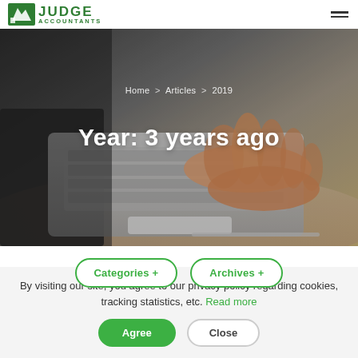JUDGE ACCOUNTANTS
[Figure (photo): Background photo of hands typing on a laptop keyboard, close-up view showing the laptop trackpad and keyboard, with a pen in the background on a wooden desk surface.]
Home > Articles > 2019
Year: 3 years ago
Categories +
Archives +
By visiting our site, you agree to our privacy policy regarding cookies, tracking statistics, etc. Read more
Agree
Close